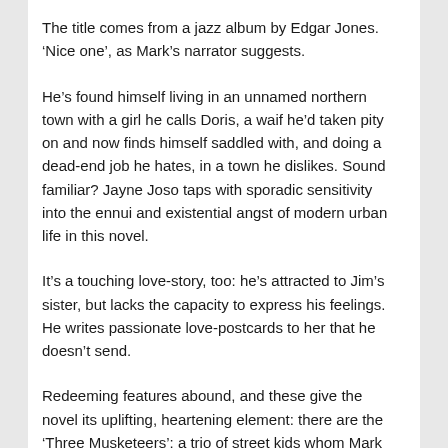The title comes from a jazz album by Edgar Jones. 'Nice one', as Mark's narrator suggests.
He's found himself living in an unnamed northern town with a girl he calls Doris, a waif he'd taken pity on and now finds himself saddled with, and doing a dead-end job he hates, in a town he dislikes. Sound familiar? Jayne Joso taps with sporadic sensitivity into the ennui and existential angst of modern urban life in this novel.
It's a touching love-story, too: he's attracted to Jim's sister, but lacks the capacity to express his feelings. He writes passionate love-postcards to her that he doesn't send.
Redeeming features abound, and these give the novel its uplifting, heartening element: there are the 'Three Musketeers': a trio of street kids whom Mark befriends, and they rapidly shift from thieving, vandalising urban rats to supportive, vulnerable, equally distraught victims of the modern world's crappiness. They redeem each other through kindness, cricket and zen.